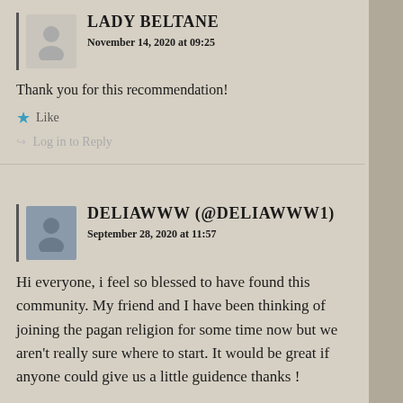LADY BELTANE
November 14, 2020 at 09:25
Thank you for this recommendation!
Like
Log in to Reply
DELIAWWW (@DELIAWWW1)
September 28, 2020 at 11:57
Hi everyone, i feel so blessed to have found this community. My friend and I have been thinking of joining the pagan religion for some time now but we aren't really sure where to start. It would be great if anyone could give us a little guidence thanks !